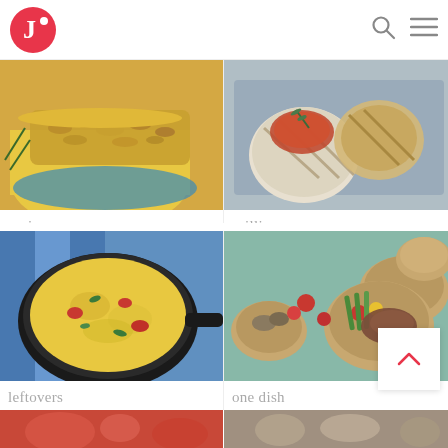[Figure (logo): Red circular logo with white letter J and dot, brand logo]
[Figure (photo): Yellow casserole dish with grain/nut topping - grains category food photo]
[Figure (photo): Grilled cheese or bread with tomato jam on cutting board - grilling category food photo]
grains
grilling
[Figure (photo): Cast iron skillet with egg frittata and vegetables - leftovers category food photo]
[Figure (photo): Wooden bowls with vegetables, asparagus, meat - one dish category food photo]
leftovers
one dish
[Figure (photo): Bottom strip showing partial food photos]